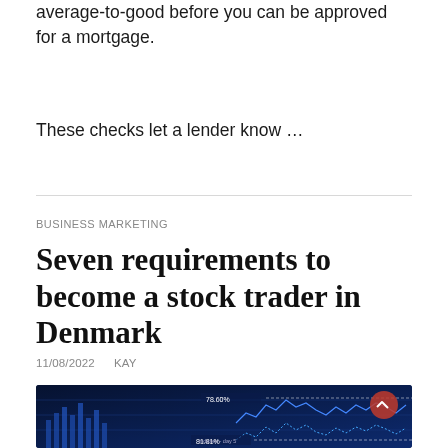average-to-good before you can be approved for a mortgage.
These checks let a lender know …
BUSINESS MARKETING
Seven requirements to become a stock trader in Denmark
11/08/2022   KAY
[Figure (photo): Stock market trading chart screen with blue financial graphs, index lines and percentage indicators such as 78.60% and 81.81%, shown on a dark blue digital background with a red circular icon.]